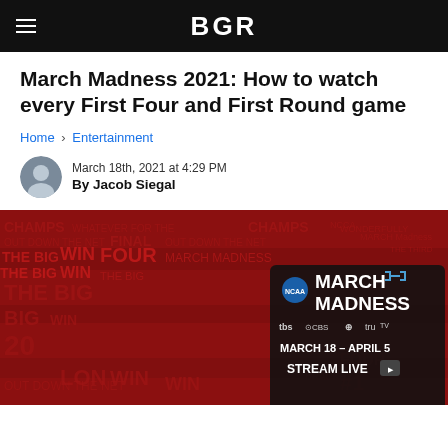BGR
March Madness 2021: How to watch every First Four and First Round game
Home › Entertainment
March 18th, 2021 at 4:29 PM
By Jacob Siegal
[Figure (photo): NCAA March Madness 2021 promotional banner showing March 18 – April 5 on TBS, CBS, TNT, truTV with Stream Live call-to-action on a red background with repeated text words like CHAMPS, FINAL FOUR, WIN, THE BIG.]